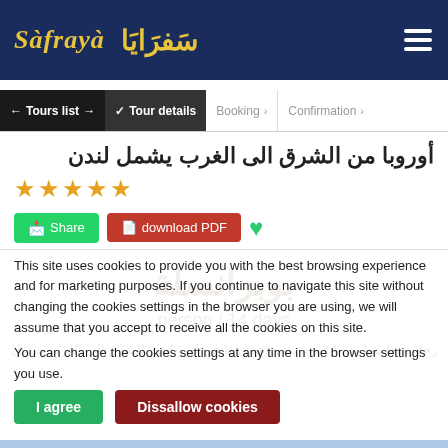Safraya سَفرَايَا
← Tours list > ✓ Tour details > Booking > Confirmation >
أوروبا من الشرق الى الغرب يشمل لندن
★★★★★
Share | download PDF | ♥
This site uses cookies to provide you with the best browsing experience and for marketing purposes. If you continue to navigate this site without changing the cookies settings in the browser you are using, we will assume that you accept to receive all the cookies on this site.
You can change the cookies settings at any time in the browser settings you use.
I agree | Dissallow cookies